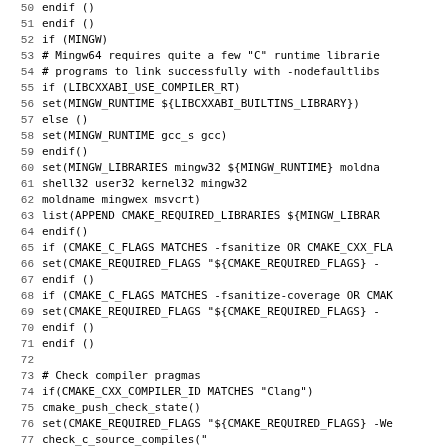[Figure (other): Source code listing (CMake script) with line numbers 50-82, showing MINGW runtime library setup, fsanitize flag checks, and Clang compiler pragma checks.]